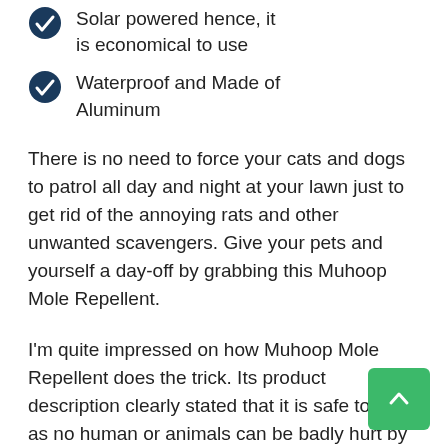Solar powered hence, it is economical to use
Waterproof and Made of Aluminum
There is no need to force your cats and dogs to patrol all day and night at your lawn just to get rid of the annoying rats and other unwanted scavengers. Give your pets and yourself a day-off by grabbing this Muhoop Mole Repellent.
I'm quite impressed on how Muhoop Mole Repellent does the trick. Its product description clearly stated that it is safe to use as no human or animals can be badly hurt by it. That's really cool because we don't want dangerous wiring for ourselves and poisonous traps for our own domestic pets.
Also, if you...